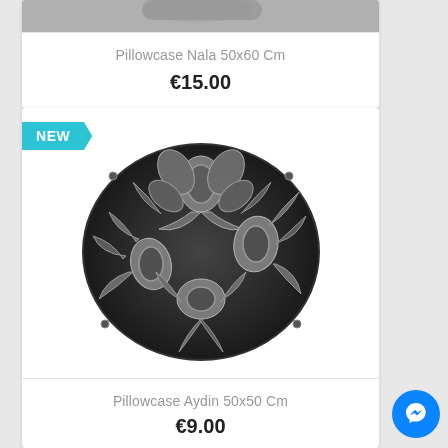[Figure (photo): Partial top of a product card showing a pillow/fabric image cropped at top]
Pillowcase Nala 50x60 Cm
€15.00
[Figure (photo): Black and grey floral damask patterned pillow/pillowcase with NEW badge in teal]
Pillowcase Aydin 50x50 Cm
€9.00